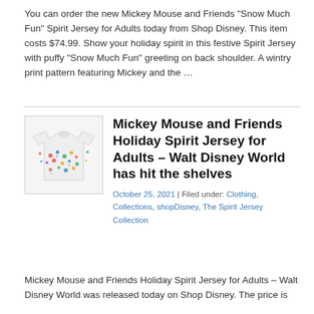You can order the new Mickey Mouse and Friends "Snow Much Fun" Spirit Jersey for Adults today from Shop Disney. This item costs $74.99. Show your holiday spirit in this festive Spirit Jersey with puffy "Snow Much Fun" greeting on back shoulder. A wintry print pattern featuring Mickey and the …
[Figure (photo): Mickey Mouse and Friends Holiday Spirit Jersey for Adults – a white sweater with colorful holiday/winter pattern featuring Mickey and friends characters]
Mickey Mouse and Friends Holiday Spirit Jersey for Adults – Walt Disney World has hit the shelves
October 25, 2021 | Filed under: Clothing, Collections, shopDisney, The Spirit Jersey Collection
Mickey Mouse and Friends Holiday Spirit Jersey for Adults – Walt Disney World was released today on Shop Disney. The price is